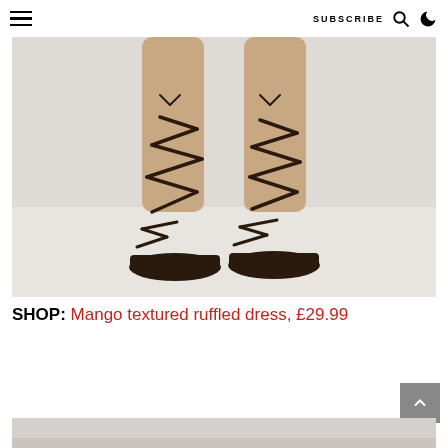SUBSCRIBE
[Figure (photo): Close-up product photo of a model's legs wearing dark brown lace-up gladiator sandals with straps wrapped around the ankles, against a light grey/white background.]
SHOP: Mango textured ruffled dress, £29.99
[Figure (photo): Partial bottom strip of another product photo, showing a similar light grey background.]